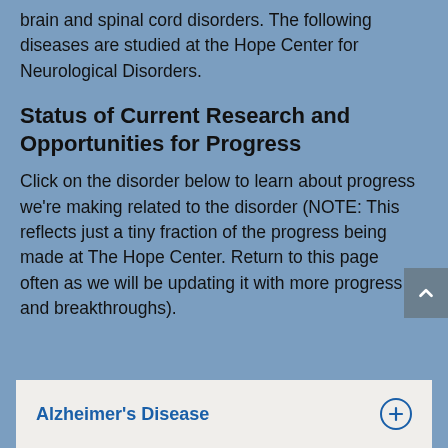brain and spinal cord disorders. The following diseases are studied at the Hope Center for Neurological Disorders.
Status of Current Research and Opportunities for Progress
Click on the disorder below to learn about progress we're making related to the disorder (NOTE: This reflects just a tiny fraction of the progress being made at The Hope Center. Return to this page often as we will be updating it with more progress and breakthroughs).
Alzheimer's Disease